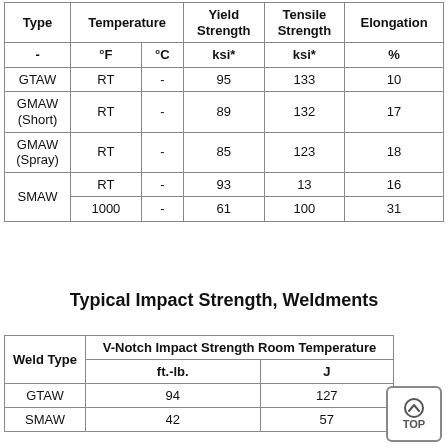| Type | Temperature °F | Temperature °C | Yield Strength ksi* | Tensile Strength ksi* | Elongation % |
| --- | --- | --- | --- | --- | --- |
| GTAW | RT | - | 95 | 133 | 10 |
| GMAW (Short) | RT | - | 89 | 132 | 17 |
| GMAW (Spray) | RT | - | 85 | 123 | 18 |
| SMAW | RT | - | 93 | 13 | 16 |
| SMAW | 1000 | - | 61 | 100 | 31 |
Typical Impact Strength, Weldments
| Weld Type | V-Notch Impact Strength Room Temperature ft.-lb. | V-Notch Impact Strength Room Temperature J |
| --- | --- | --- |
| GTAW | 94 | 127 |
| SMAW | 42 | 57 |